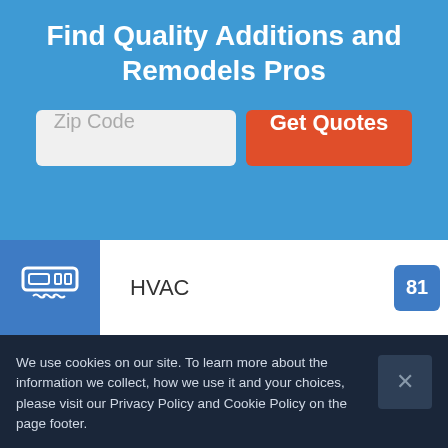Find Quality Additions and Remodels Pros
[Figure (screenshot): Zip Code input field and Get Quotes button]
HVAC  81
Insulation  5
Kitchen Remodeling  11
We use cookies on our site. To learn more about the information we collect, how we use it and your choices, please visit our Privacy Policy and Cookie Policy on the page footer.